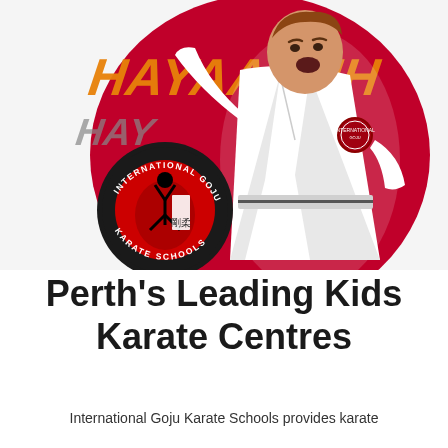[Figure (photo): A young boy in a white karate gi performing a karate strike, mouth open yelling, with 'HAYAAHHH' text in orange and grey in the background. An International Goju Karate Schools circular logo with red and black design is overlaid on the lower left of the image.]
Perth's Leading Kids Karate Centres
International Goju Karate Schools provides karate